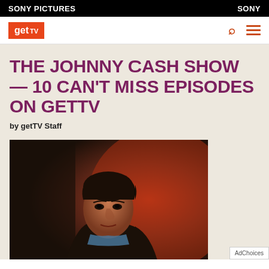SONY PICTURES | SONY
getTV
THE JOHNNY CASH SHOW — 10 CAN'T MISS EPISODES ON GETTV
by getTV Staff
[Figure (photo): Photo of Johnny Cash performing, dark background with red stage lighting, wearing dark suit]